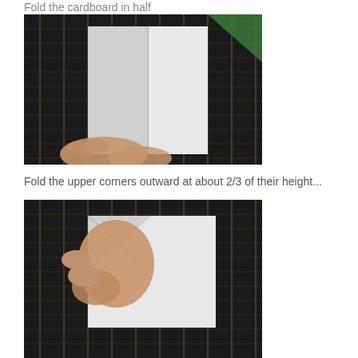Fold the cardboard in half
[Figure (photo): A hand holding a piece of white cardboard folded in half, shown against a dark bamboo mat background with a green corner visible at top right]
Fold the upper corners outward at about 2/3 of their height...
[Figure (photo): A hand folding the upper corner of a white piece of cardboard outward, shown against a dark bamboo mat background]